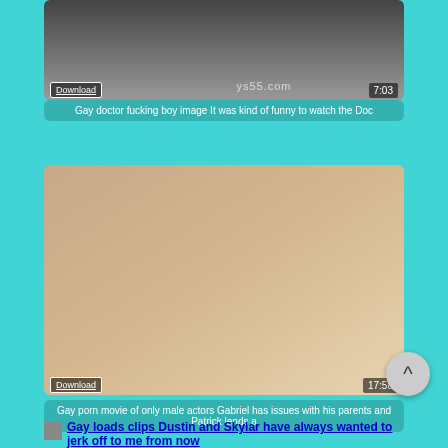[Figure (screenshot): Video thumbnail showing close-up scene with Download button and 7:03 duration overlay]
Gay doctor fucking boy image It was kind of funny to watch the Doc
[Figure (screenshot): Video thumbnail showing scene on wooden floor with Download button and 17:58 duration overlay]
Gay porn movie of only male actors Gabriel has issues with his parents and Patrick lends a
Gay loads clips Dustin and Skylar have always wanted to jerk off to me from now